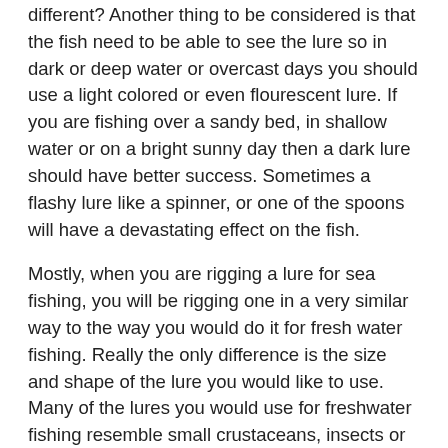different?  Another thing to be considered is that the fish need to be able to see the lure so in dark or deep water or overcast days you should use a light colored or even flourescent lure.  If you are fishing over a sandy bed, in shallow water or on a bright sunny day then a dark lure should have better success.  Sometimes a flashy lure like a spinner, or one of the spoons will have a devastating effect on the fish.
Mostly, when you are rigging a lure for sea fishing, you will be rigging one in a very similar way to the way you would do it for fresh water fishing.  Really the only difference is the size and shape of the lure you would like to use.  Many of the lures you would use for freshwater fishing resemble small crustaceans, insects or insect lavae and small fish or similar.  Similar lures will work on the smaller predatory fish like salmon, trout, flathead, tarpon and similar.  For larger fish like kingfish, bass, tuna, sailfish, marlin, shark, bonito and other fast moving predatory fish you will need a lure which